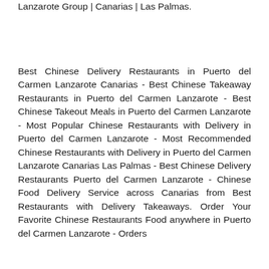Lanzarote Group | Canarias | Las Palmas.
Best Chinese Delivery Restaurants in Puerto del Carmen Lanzarote Canarias - Best Chinese Takeaway Restaurants in Puerto del Carmen Lanzarote - Best Chinese Takeout Meals in Puerto del Carmen Lanzarote - Most Popular Chinese Restaurants with Delivery in Puerto del Carmen Lanzarote - Most Recommended Chinese Restaurants with Delivery in Puerto del Carmen Lanzarote Canarias Las Palmas - Best Chinese Delivery Restaurants Puerto del Carmen Lanzarote - Chinese Food Delivery Service across Canarias from Best Restaurants with Delivery Takeaways. Order Your Favorite Chinese Restaurants Food anywhere in Puerto del Carmen Lanzarote - Orders